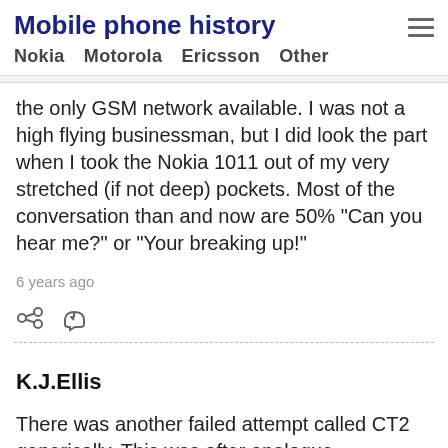Mobile phone history
Nokia  Motorola  Ericsson  Other
the only GSM network available. I was not a high flying businessman, but I did look the part when I took the Nokia 1011 out of my very stretched (if not deep) pockets. Most of the conversation than and now are 50% "Can you hear me?" or "Your breaking up!"
6 years ago
[share] [reply]
K.J.Ellis
There was another failed attempt called CT2 generically. This was after analogue cellphones and I think Mercury/Rabbit were involved. You had a cheap handset and could only make calls